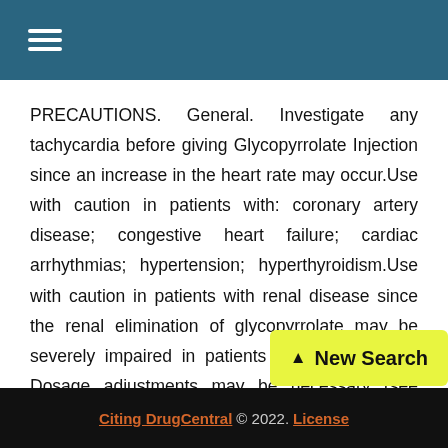≡
PRECAUTIONS. General. Investigate any tachycardia before giving Glycopyrrolate Injection since an increase in the heart rate may occur.Use with caution in patients with: coronary artery disease; congestive heart failure; cardiac arrhythmias; hypertension; hyperthyroidism.Use with caution in patients with renal disease since the renal elimination of glycopyrrolate may be severely impaired in patients with renal failure. Dosage adjustments may be necessary (see Pharmacokinetics Renal Impairment).Use glycopyrrolate with caution in the elderly and in all patients with autonomic neuropathy, hepatic disease, prostic hypertrophy, or hiatal hernia, since anticholinergic
Citing DrugCentral © 2022. License